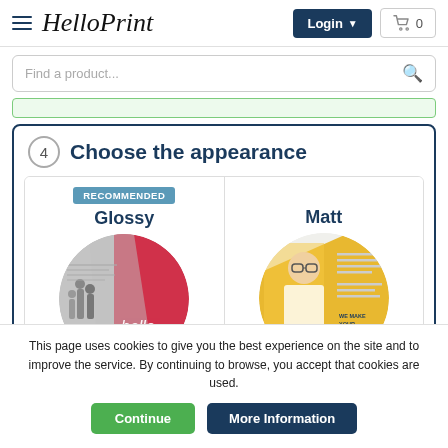HelloPrint — Login — Cart 0
Find a product...
4  Choose the appearance
[Figure (illustration): Two circular thumbnail images: left labeled 'Glossy' with a RECOMMENDED badge (showing print samples with pink/grey colors and 'hello.' text), right labeled 'Matt' (showing a person with yellow graphic elements).]
This page uses cookies to give you the best experience on the site and to improve the service. By continuing to browse, you accept that cookies are used.
Continue  More Information